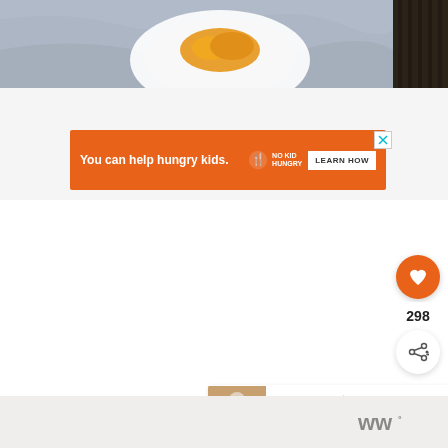[Figure (photo): Top portion of a food photo showing a white plate with orange food (appears to be pasta or similar dish) on a light blue/gray cloth, with dark striped fabric on the right side]
[Figure (other): Orange advertisement banner: 'You can help hungry kids.' with No Kid Hungry logo and 'LEARN HOW' button, with close X in corner]
298
WHAT'S NEXT → Buffalo Chicken Egg...
[Figure (logo): Whisk.com or similar recipe site logo with stylized W and degree symbol]